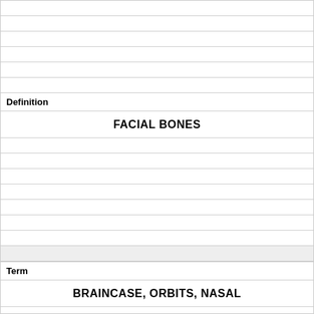Definition
FACIAL BONES
Term
BRAINCASE, ORBITS, NASAL